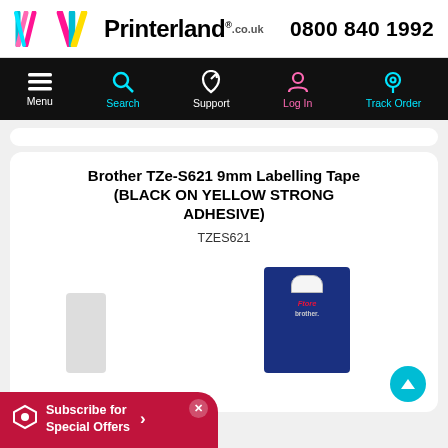Printerland.co.uk | 0800 840 1992
[Figure (screenshot): Navigation bar with Menu, Search, Support, Log In, Track Order icons on black background]
Brother TZe-S621 9mm Labelling Tape (BLACK ON YELLOW STRONG ADHESIVE)
TZES621
[Figure (photo): Brother TZe-S621 labelling tape in blue product packaging with hanger tab]
Subscribe for Special Offers